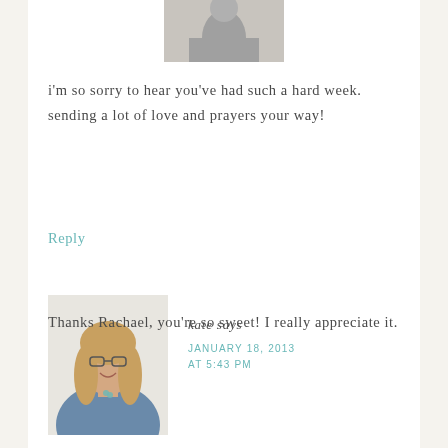[Figure (photo): Partial black and white avatar photo at top of comment, cropped at top of page]
i'm so sorry to hear you've had such a hard week. sending a lot of love and prayers your way!
Reply
[Figure (photo): Color headshot photo of Kate, a woman with long blonde hair and glasses, smiling, wearing a blue denim shirt]
kate says
JANUARY 18, 2013
AT 5:43 PM
Thanks Rachael, you're so sweet! I really appreciate it.